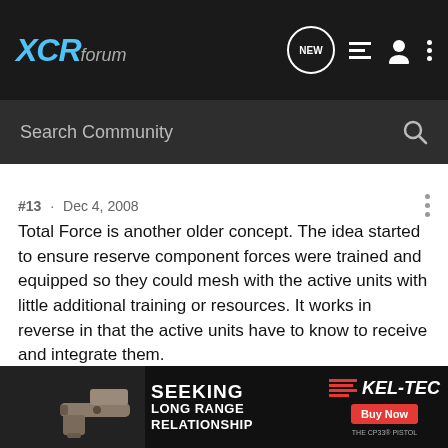XCRforum
Search Community
#13 · Dec 4, 2008
Total Force is another older concept. The idea started to ensure reserve component forces were trained and equipped so they could mesh with the active units with little additional training or resources. It works in reverse in that the active units have to know to receive and integrate them.

The oath you take is to "support and defend the Constitution". I understand the wariness of using a nation's military inside its borders, but lets look at that fiasco during Katrina. Civilian leadership blaming other folks, better yet, breaking down and crying (LA govenor) instead of acting. In a lot of situations, I'd rather s... ...talking about sa...
[Figure (screenshot): KEL-TEC advertisement banner featuring a CP33 pistol with text: SEEKING LONG RANGE RELATIONSHIP, KEL-TEC, Buy Now]